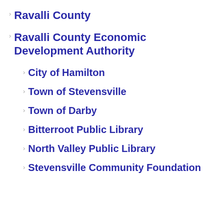Ravalli County
Ravalli County Economic Development Authority
City of Hamilton
Town of Stevensville
Town of Darby
Bitterroot Public Library
North Valley Public Library
Stevensville Community Foundation